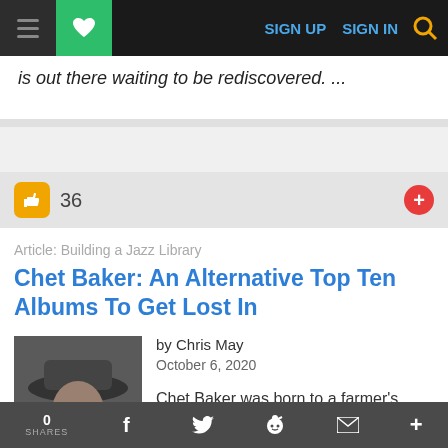SIGN UP  SIGN IN
is out there waiting to be rediscovered. ...
36
Article: Building a Jazz Library
Chet Baker: An Alternative Top Ten Albums To Get Lost In
by Chris May
October 6, 2020
[Figure (photo): Black and white photo of Chet Baker wearing a wide-brim hat, holding a trumpet]
Chet Baker was born to a farmer's daughter and a hard-drinking
0 SHARES  f  t  reddit  mail  +